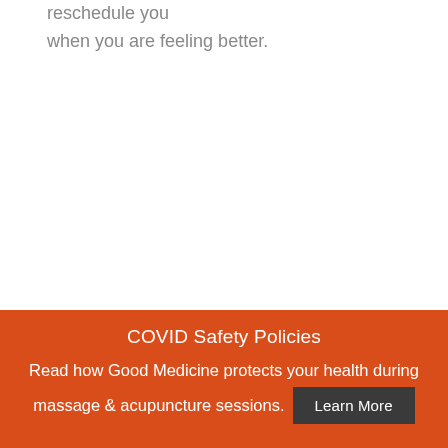reschedule you
when you are feeling better.
COVID Safety Policies
Read how Good Medicine protects your health during massage & acupuncture sessions.